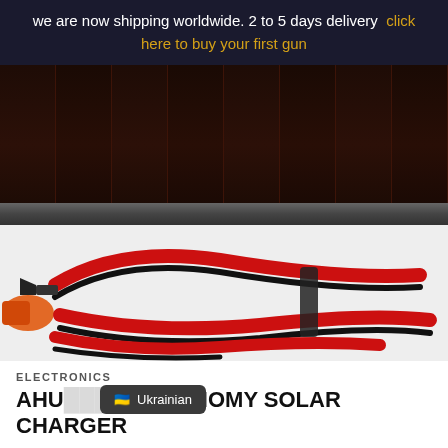we are now shipping worldwide. 2 to 5 days delivery  click here to buy your first gun
[Figure (photo): Close-up photo of a solar panel charger showing dark solar cells at the top and coiled red and black cables with alligator clips below, on a white background.]
ELECTRONICS
AHU... 2 ECONOMY SOLAR CHARGER